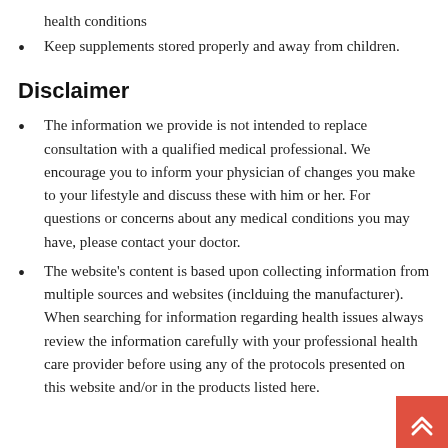health conditions
Keep supplements stored properly and away from children.
Disclaimer
The information we provide is not intended to replace consultation with a qualified medical professional. We encourage you to inform your physician of changes you make to your lifestyle and discuss these with him or her. For questions or concerns about any medical conditions you may have, please contact your doctor.
The website's content is based upon collecting information from multiple sources and websites (inclduing the manufacturer). When searching for information regarding health issues always review the information carefully with your professional health care provider before using any of the protocols presented on this website and/or in the products listed here.